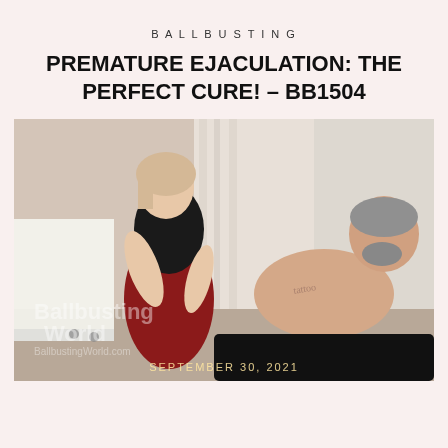BALLBUSTING
PREMATURE EJACULATION: THE PERFECT CURE! – BB1504
[Figure (photo): A woman in a black and red outfit interacting with a reclining shirtless man in what appears to be an indoor setting. Watermark reads 'Ballbusting World' with URL. Date overlay reads 'SEPTEMBER 30, 2021'.]
SEPTEMBER 30, 2021